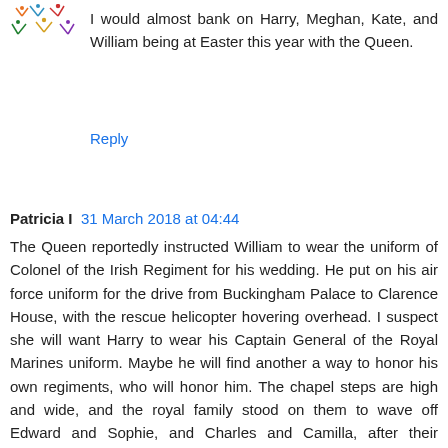[Figure (illustration): Small decorative avatar icon with colorful bird/figure graphics]
I would almost bank on Harry, Meghan, Kate, and William being at Easter this year with the Queen.
Reply
Patricia I  31 March 2018 at 04:44
The Queen reportedly instructed William to wear the uniform of Colonel of the Irish Regiment for his wedding. He put on his air force uniform for the drive from Buckingham Palace to Clarence House, with the rescue helicopter hovering overhead. I suspect she will want Harry to wear his Captain General of the Royal Marines uniform. Maybe he will find another a way to honor his own regiments, who will honor him. The chapel steps are high and wide, and the royal family stood on them to wave off Edward and Sophie, and Charles and Camilla, after their weddings. If there is to be a saber arch, I think it would be up at the chapel entrance. Can't remember if there is a large enough flat platform there. Almost midnight here, might look at pictures tomorrow.